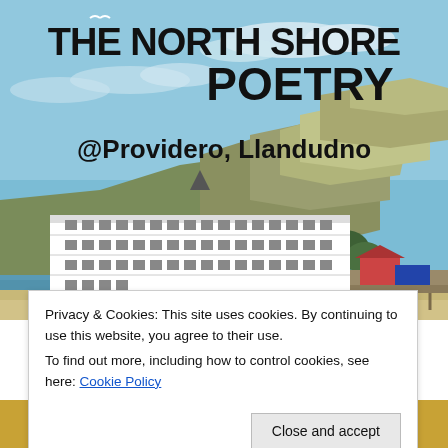[Figure (illustration): Illustrated poster-style image of Llandudno north shore: blue sky with seagulls, large rocky headland (Great Orme), a grand white Victorian hotel/building on the seafront, pier extending to the right, beach promenade. Bold black text overlay reads 'THE NORTH SHORE POETRY' and '@Providero, Llandudno'.]
Privacy & Cookies: This site uses cookies. By continuing to use this website, you agree to their use.
To find out more, including how to control cookies, see here: Cookie Policy
Close and accept
December